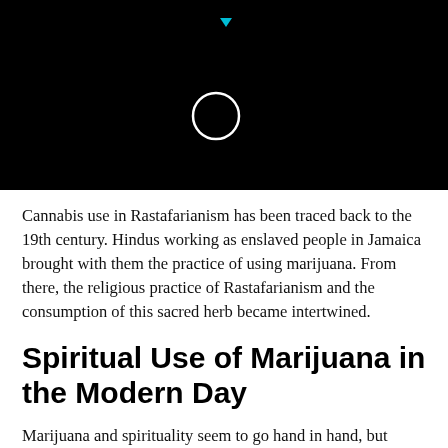[Figure (screenshot): Black video player header with a white circular play button outline centered on the left side and a small cyan downward-pointing triangle at the top center]
Cannabis use in Rastafarianism has been traced back to the 19th century. Hindus working as enslaved people in Jamaica brought with them the practice of using marijuana. From there, the religious practice of Rastafarianism and the consumption of this sacred herb became intertwined.
Spiritual Use of Marijuana in the Modern Day
Marijuana and spirituality seem to go hand in hand, but where does it all fit in today’s world?